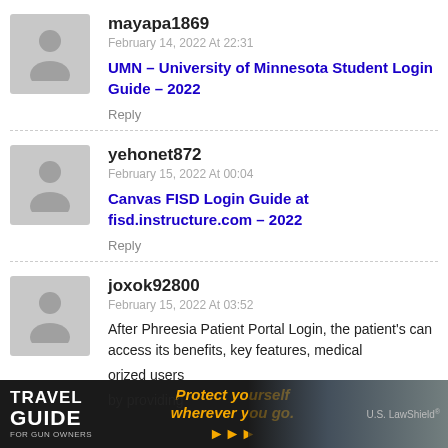mayapa1869
February 14, 2022 At 22:31
UMN – University of Minnesota Student Login Guide – 2022
Reply
yehonet872
February 15, 2022 At 00:04
Canvas FISD Login Guide at fisd.instructure.com – 2022
Reply
joxok92800
February 15, 2022 At 03:52
After Phreesia Patient Portal Login, the patient's can access its benefits, key features, medical
orized users
by providing
[Figure (illustration): Advertisement banner: Travel Guide for Gun Owners. Text reads 'TRAVEL GUIDE FOR GUN OWNERS', 'Protect yourself wherever you go.' with orange arrows (play buttons) and U.S. LawShield branding on dark background with blue tones.]